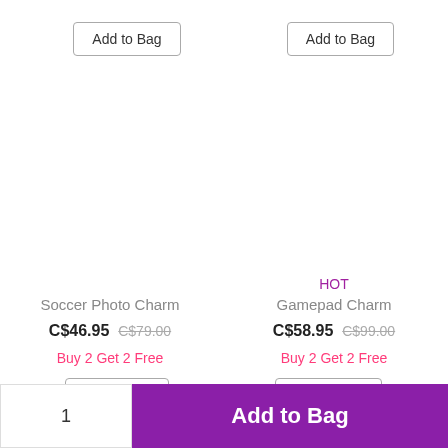Add to Bag (left top button)
Add to Bag (right top button)
Soccer Photo Charm
C$46.95  C$79.00
Buy 2 Get 2 Free
Customize
HOT
Gamepad Charm
C$58.95  C$99.00
Buy 2 Get 2 Free
Add to Bag
1
Add to Bag